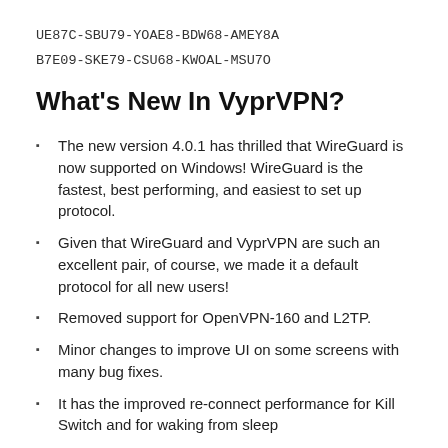UE87C-SBU79-YOAE8-BDW68-AMEY8A
B7E09-SKE79-CSU68-KWOAL-MSU7O
What's New In VyprVPN?
The new version 4.0.1 has thrilled that WireGuard is now supported on Windows! WireGuard is the fastest, best performing, and easiest to set up protocol.
Given that WireGuard and VyprVPN are such an excellent pair, of course, we made it a default protocol for all new users!
Removed support for OpenVPN-160 and L2TP.
Minor changes to improve UI on some screens with many bug fixes.
It has the improved re-connect performance for Kill Switch and for waking from sleep
Some fixes for updated system extensions for Mac OS updates.